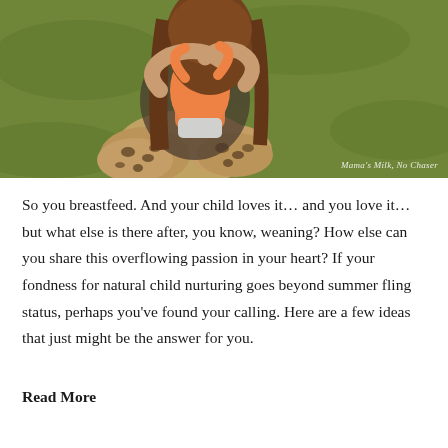[Figure (photo): A woman with long brown hair wearing leopard print leggings hugs a young child wearing an orange shirt, sitting outdoors on green grass in warm sunlight. Watermark reads 'Mama's Milk, No Chaser'.]
So you breastfeed. And your child loves it… and you love it… but what else is there after, you know, weaning? How else can you share this overflowing passion in your heart? If your fondness for natural child nurturing goes beyond summer fling status, perhaps you've found your calling. Here are a few ideas that just might be the answer for you.
Read More